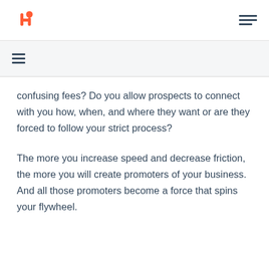HubSpot logo and navigation menu
confusing fees? Do you allow prospects to connect with you how, when, and where they want or are they forced to follow your strict process?
The more you increase speed and decrease friction, the more you will create promoters of your business. And all those promoters become a force that spins your flywheel.